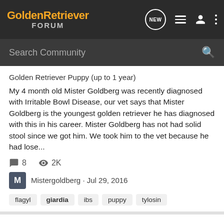GoldenRetriever FORUM
Search Community
Golden Retriever Puppy (up to 1 year)
My 4 month old Mister Goldberg was recently diagnosed with Irritable Bowl Disease, our vet says that Mister Goldberg is the youngest golden retriever he has diagnosed with this in his career. Mister Goldberg has not had solid stool since we got him. We took him to the vet because he had lose...
8   2K
Mistergoldberg · Jul 29, 2016
flagyl  giardia  ibs  puppy  tylosin
Giarda - over 4 months of treatment and still infected :-(((
Golden Retriever Health, Anatomy & Breed Standard